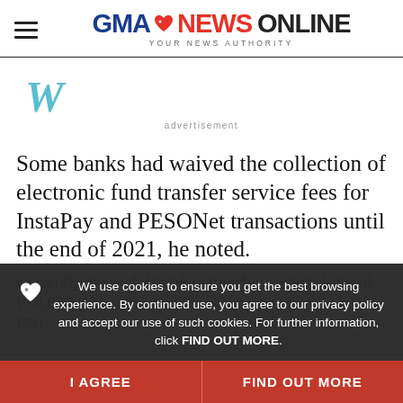GMA NEWS ONLINE — YOUR NEWS AUTHORITY
[Figure (logo): W icon (Weatherbug or similar) with 'advertisement' label below]
Some banks had waived the collection of electronic fund transfer service fees for InstaPay and PESONet transactions until the end of 2021, he noted.
Currently, he said, InstaPay transfers a daily limit of P50,000 with transaction fees ranging from P0 to P50.
We use cookies to ensure you get the best browsing experience. By continued use, you agree to our privacy policy and accept our use of such cookies. For further information, click FIND OUT MORE.
I AGREE | FIND OUT MORE